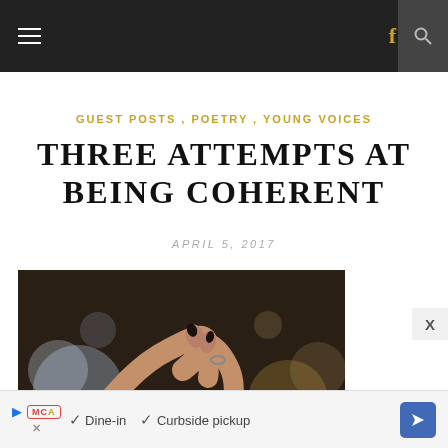≡  f  🔍
GUEST POSTS, POETRY, YOUNG VOICES
THREE ATTEMPTS AT BEING COHERENT
APRIL 5, 2017
[Figure (photo): Two hands with dark nail polish touching fingertips against a blurred bokeh background]
▶ MCAS  ✓ Dine-in  ✓ Curbside pickup  ➡  X